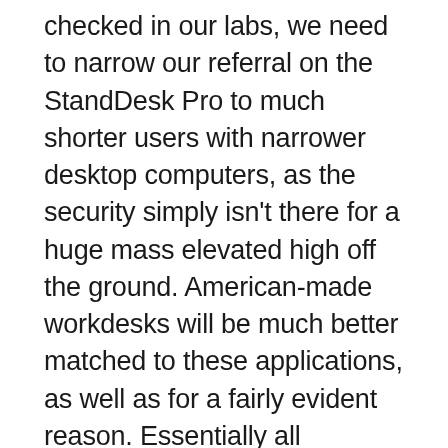checked in our labs, we need to narrow our referral on the StandDesk Pro to much shorter users with narrower desktop computers, as the security simply isn't there for a huge mass elevated high off the ground. American-made workdesks will be much better matched to these applications, as well as for a fairly evident reason. Essentially all American-made bases are made in US factories that are possessed by Swedish, Danish or German business that developed this sector, and also their ordinary people are a whole lot taller than the typical Eastern consumer, so they started making longer-stroke training legs a very long time earlier. As well as they have much more robotic automation, laser-cutting equipment, and advanced machining to di...